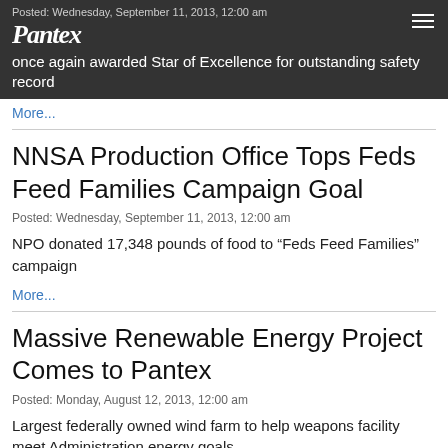Posted: Wednesday, September 11, 2013, 12:00 am
Pantex once again awarded Star of Excellence for outstanding safety record
More...
NNSA Production Office Tops Feds Feed Families Campaign Goal
Posted: Wednesday, September 11, 2013, 12:00 am
NPO donated 17,348 pounds of food to “Feds Feed Families” campaign
More...
Massive Renewable Energy Project Comes to Pantex
Posted: Monday, August 12, 2013, 12:00 am
Largest federally owned wind farm to help weapons facility meet Administration energy goals
More...